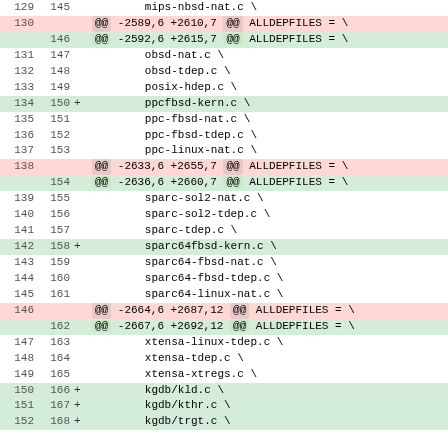Diff view showing code changes in a makefile (ALLDEPFILES) with line numbers and +/- markers
| old_ln | new_ln | marker | content |
| --- | --- | --- | --- |
| 129 | 145 |  | mips-nbsd-nat.c \ |
| 130 |  |  | @@ -2589,6 +2610,7 @@ ALLDEPFILES = \ |
|  | 146 |  | @@ -2592,6 +2615,7 @@ ALLDEPFILES = \ |
| 131 | 147 |  | obsd-nat.c \ |
| 132 | 148 |  | obsd-tdep.c \ |
| 133 | 149 |  | posix-hdep.c \ |
| 134 | 150 | + | ppcfbsd-kern.c \ |
| 135 | 151 |  | ppc-fbsd-nat.c \ |
| 136 | 152 |  | ppc-fbsd-tdep.c \ |
| 137 | 153 |  | ppc-linux-nat.c \ |
| 138 |  |  | @@ -2633,6 +2655,7 @@ ALLDEPFILES = \ |
|  | 154 |  | @@ -2636,6 +2660,7 @@ ALLDEPFILES = \ |
| 139 | 155 |  | sparc-sol2-nat.c \ |
| 140 | 156 |  | sparc-sol2-tdep.c \ |
| 141 | 157 |  | sparc-tdep.c \ |
| 142 | 158 | + | sparc64fbsd-kern.c \ |
| 143 | 159 |  | sparc64-fbsd-nat.c \ |
| 144 | 160 |  | sparc64-fbsd-tdep.c \ |
| 145 | 161 |  | sparc64-linux-nat.c \ |
| 146 |  |  | @@ -2664,6 +2687,12 @@ ALLDEPFILES = \ |
|  | 162 |  | @@ -2667,6 +2692,12 @@ ALLDEPFILES = \ |
| 147 | 163 |  | xtensa-linux-tdep.c \ |
| 148 | 164 |  | xtensa-tdep.c \ |
| 149 | 165 |  | xtensa-xtregs.c \ |
| 150 | 166 | + | kgdb/kld.c \ |
| 151 | 167 | + | kgdb/kthr.c \ |
| 152 | 168 | + | kgdb/trgt.c \ |